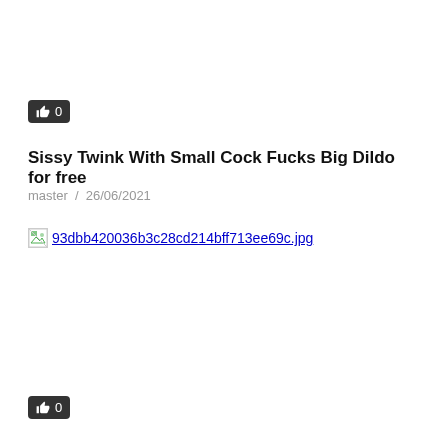[Figure (other): Like/thumbs-up button with count 0, dark background]
Sissy Twink With Small Cock Fucks Big Dildo for free
master / 26/06/2021
[Figure (other): Broken image placeholder with filename: 93dbb420036b3c28cd214bff713ee69c.jpg]
[Figure (other): Like/thumbs-up button with count 0, dark background]